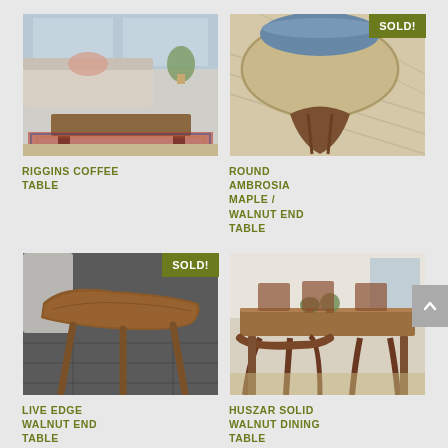[Figure (photo): Photo of Riggins Coffee Table on a colorful rug in a living room setting]
[Figure (photo): Photo of Round Ambrosia Maple / Walnut End Table with SOLD badge]
RIGGINS COFFEE TABLE
ROUND AMBROSIA MAPLE / WALNUT END TABLE
[Figure (photo): Photo of Live Edge Walnut End Table with SOLD badge]
[Figure (photo): Photo of Huszar Solid Walnut Dining Table in dining room setting]
LIVE EDGE WALNUT END TABLE
HUSZAR SOLID WALNUT DINING TABLE